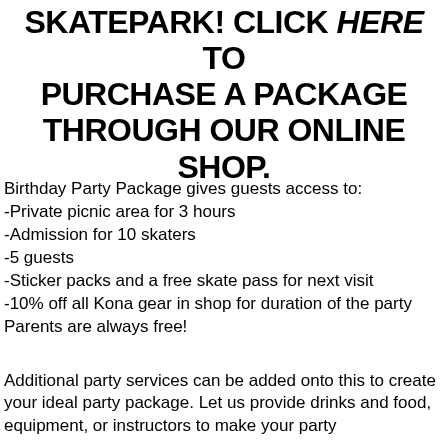SKATEPARK! CLICK HERE TO PURCHASE A PACKAGE THROUGH OUR ONLINE SHOP.
Birthday Party Package gives guests access to:
-Private picnic area for 3 hours
-Admission for 10 skaters
-5 guests
-Sticker packs and a free skate pass for next visit
-10% off all Kona gear in shop for duration of the party
Parents are always free!
Additional party services can be added onto this to create your ideal party package. Let us provide drinks and food, equipment, or instructors to make your party